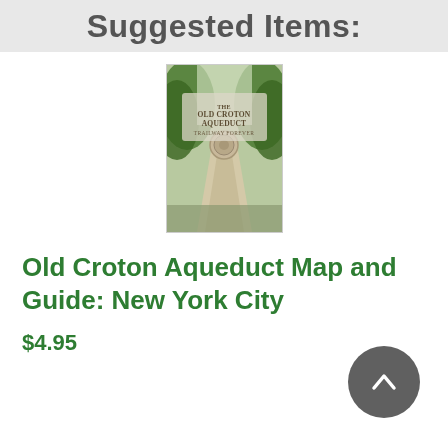Suggested Items:
[Figure (photo): Book cover of 'Old Croton Aqueduct Map and Guide: New York City' showing a tree-lined path leading to a circular stone structure]
Old Croton Aqueduct Map and Guide: New York City
$4.95